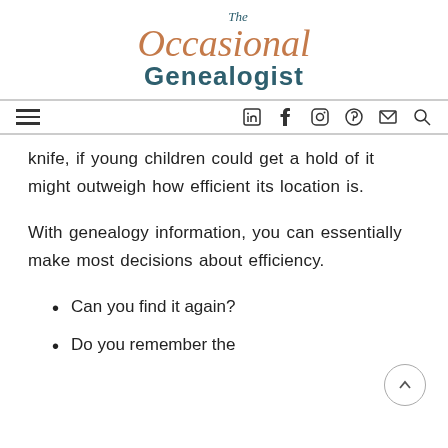[Figure (logo): The Occasional Genealogist logo with cursive 'The Occasional' in brownish-orange and 'Genealogist' in dark teal bold sans-serif]
Navigation bar with hamburger menu and social icons: LinkedIn, Facebook, Instagram, Pinterest, Email, Search
knife, if young children could get a hold of it might outweigh how efficient its location is.
With genealogy information, you can essentially make most decisions about efficiency.
Can you find it again?
Do you remember the